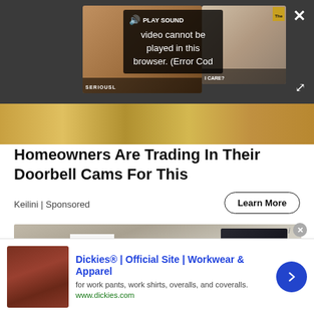[Figure (screenshot): Video player overlay showing error message 'Video cannot be played in this browser. (Error Cod' with PLAY SOUND button, two face thumbnails on sides labeled SERIOUSL and I CARE?, close X button and expand arrows]
[Figure (photo): Gold/brown textured background image strip]
Homeowners Are Trading In Their Doorbell Cams For This
Keilini | Sponsored
Learn More
[Figure (photo): Photo of N5 Z690 motherboard manual and circuit board on carpet]
[Figure (screenshot): Bottom banner advertisement for Dickies showing furniture thumbnail, Dickies Official Site Workwear & Apparel ad with learn more arrow button]
Dickies® | Official Site | Workwear & Apparel
for work pants, work shirts, overalls, and coveralls.
www.dickies.com